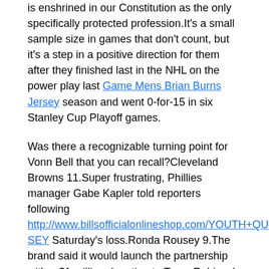is enshrined in our Constitution as the only specifically protected profession.It's a small sample size in games that don't count, but it's a step in a positive direction for them after they finished last in the NHL on the power play last Game Mens Brian Burns Jersey season and went 0-for-15 in six Stanley Cup Playoff games.
Was there a recognizable turning point for Vonn Bell that you can recall?Cleveland Browns 11.Super frustrating, Phillies manager Gabe Kapler told reporters following http://www.billsofficialonlineshop.com/YOUTH+QUINTON+SPAIN+JERSEY Saturday's loss.Ronda Rousey 9.The brand said it would launch the partnership with a $1 million donation to Team Rubicon's efforts, and support with a multi-media campaign, including a dedicated TV spot, digital, social media, POP, products and presence at the Daytona 500.
Alex Morgan 5.You have two incredible fighters, each one of them with their own style and confidence with Keith and Danny.Analysis It remains potently strange that Larry Bird, three-time MVP and something like the sixth-best player of all-time, breezed through Indiana, organized one of the best teams in the league, and then quietly walked away from a profession nobody knew he would be good